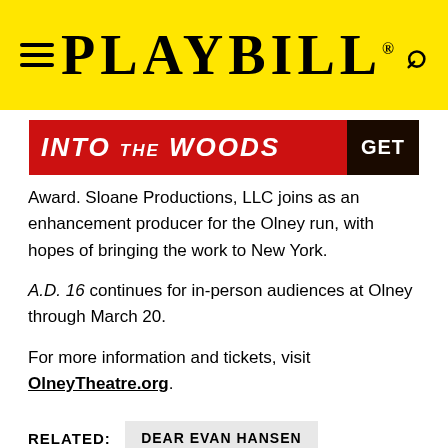PLAYBILL
[Figure (other): Into the Woods advertisement banner with red background and 'GET' button on dark background]
Award. Sloane Productions, LLC joins as an enhancement producer for the Olney run, with hopes of bringing the work to New York.
A.D. 16 continues for in-person audiences at Olney through March 20.
For more information and tickets, visit OlneyTheatre.org.
RELATED:
DEAR EVAN HANSEN
A STRANGE LOOP
CINCO PAUL
BEN FANKHAUSER
DOUG BESTERMAN